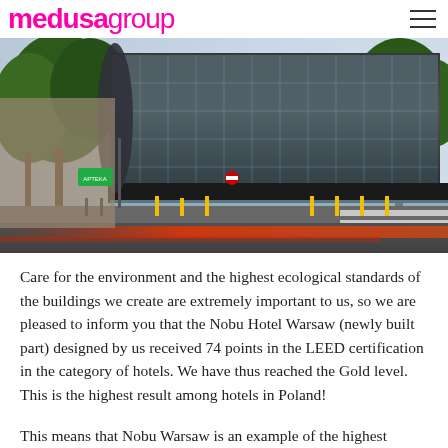medusagroup
[Figure (photo): Exterior photograph of Nobu Hotel Warsaw, a modern glass-facade building at street level with trees in foreground, city street with red light trails visible, taken at dusk/evening.]
Care for the environment and the highest ecological standards of the buildings we create are extremely important to us, so we are pleased to inform you that the Nobu Hotel Warsaw (newly built part) designed by us received 74 points in the LEED certification in the category of hotels. We have thus reached the Gold level. This is the highest result among hotels in Poland!
This means that Nobu Warsaw is an example of the highest